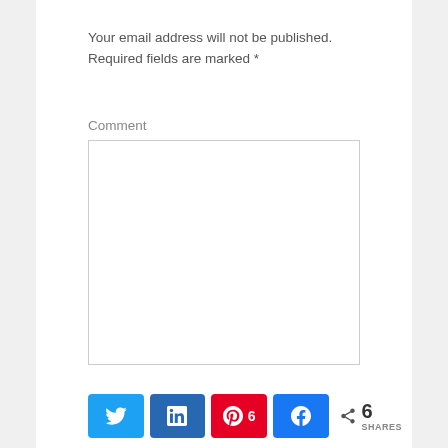Your email address will not be published. Required fields are marked *
Comment
[Figure (other): Empty comment text area input box with light border]
[Figure (infographic): Social share buttons row: Twitter (blue bird icon), LinkedIn (blue 'in' icon), Pinterest (red with pin icon and count 6), Facebook (blue 'f' icon), and share icon with count 6 SHARES]